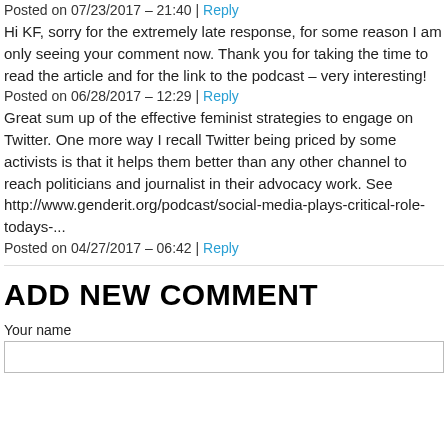Posted on 07/23/2017 - 21:40 | Reply
Hi KF, sorry for the extremely late response, for some reason I am only seeing your comment now. Thank you for taking the time to read the article and for the link to the podcast – very interesting!
Posted on 06/28/2017 - 12:29 | Reply
Great sum up of the effective feminist strategies to engage on Twitter. One more way I recall Twitter being priced by some activists is that it helps them better than any other channel to reach politicians and journalist in their advocacy work. See http://www.genderit.org/podcast/social-media-plays-critical-role-todays-...
Posted on 04/27/2017 - 06:42 | Reply
ADD NEW COMMENT
Your name